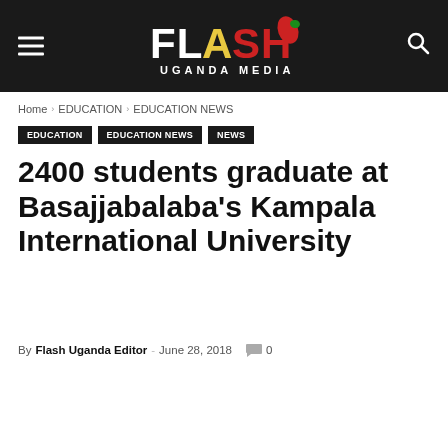Flash Uganda Media — navigation header with menu icon, logo, and search icon
Home › EDUCATION › EDUCATION NEWS
EDUCATION  EDUCATION NEWS  NEWS
2400 students graduate at Basajjabalaba's Kampala International University
By Flash Uganda Editor - June 28, 2018  0